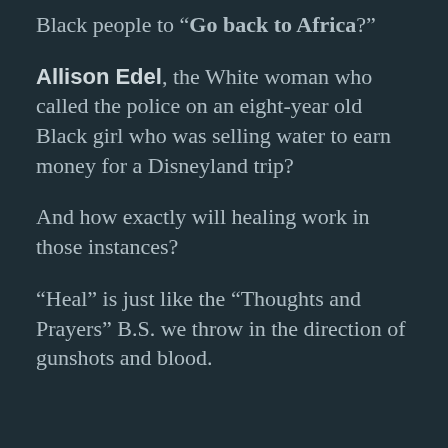Black people to “Go back to Africa?”
Allison Edel, the White woman who called the police on an eight-year old Black girl who was selling water to earn money for a Disneyland trip?
And how exactly will healing work in those instances?
“Heal” is just like the “Thoughts and Prayers” B.S. we throw in the direction of gunshots and blood.